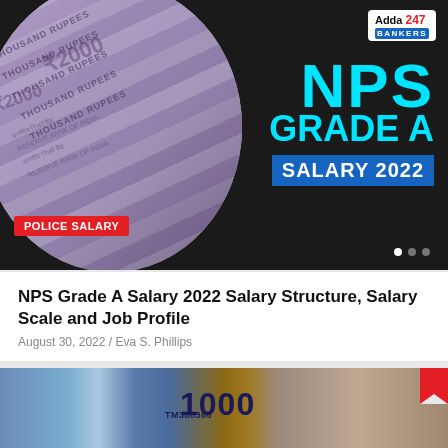[Figure (photo): Hero banner showing Indian 2000 rupee notes fanned out in a circular photo on the left, with NPS Grade A Salary 2022 text on dark background on the right. Adda247 Bankers logo in top right corner. Red 'POLICE SALARY' tag at bottom left. Slide indicator dots at bottom right.]
NPS Grade A Salary 2022 Salary Structure, Salary Scale and Job Profile
August 30, 2022 / Eva S. Phillips
[Figure (photo): Bottom portion of a second article card showing Philippine 1000 peso notes on the left side and coins on the right side on a wooden surface.]